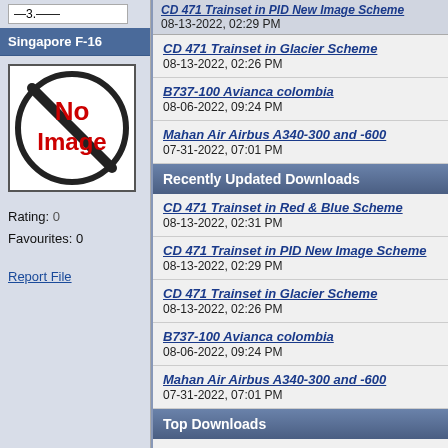Singapore F-16
[Figure (illustration): No Image placeholder icon — black circle with diagonal slash, red text 'No Image' inside]
Rating: 0
Favourites: 0
Report File
CD 471 Trainset in PID New Image Scheme — 08-13-2022, 02:29 PM
CD 471 Trainset in Glacier Scheme — 08-13-2022, 02:26 PM
B737-100 Avianca colombia — 08-06-2022, 09:24 PM
Mahan Air Airbus A340-300 and -600 — 07-31-2022, 07:01 PM
Recently Updated Downloads
CD 471 Trainset in Red & Blue Scheme — 08-13-2022, 02:31 PM
CD 471 Trainset in PID New Image Scheme — 08-13-2022, 02:29 PM
CD 471 Trainset in Glacier Scheme — 08-13-2022, 02:26 PM
B737-100 Avianca colombia — 08-06-2022, 09:24 PM
Mahan Air Airbus A340-300 and -600 — 07-31-2022, 07:01 PM
Top Downloads